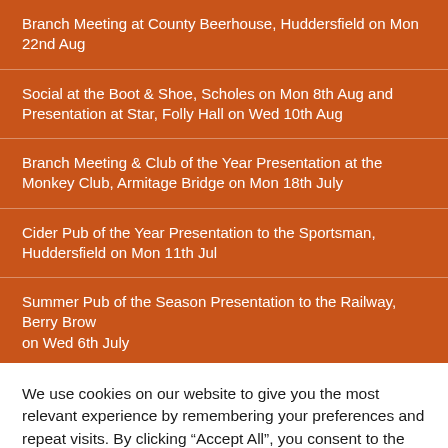Branch Meeting at County Beerhouse, Huddersfield on Mon 22nd Aug
Social at the Boot & Shoe, Scholes on Mon 8th Aug and Presentation at Star, Folly Hall on Wed 10th Aug
Branch Meeting & Club of the Year Presentation at the Monkey Club, Armitage Bridge on Mon 18th July
Cider Pub of the Year Presentation to the Sportsman, Huddersfield on Mon 11th Jul
Summer Pub of the Season Presentation to the Railway, Berry Brow on Wed 6th July
We use cookies on our website to give you the most relevant experience by remembering your preferences and repeat visits. By clicking “Accept All”, you consent to the use of ALL the cookies. However, you may visit "Cookie Settings" to provide a controlled consent.
Cookie Settings | Accept All